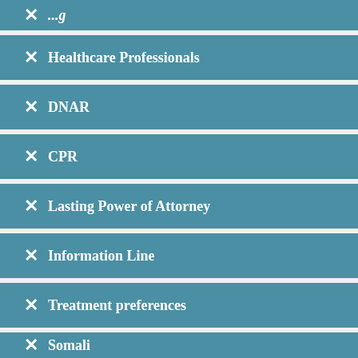Healthcare Professionals
DNAR
CPR
Lasting Power of Attorney
Information Line
Treatment preferences
Somali